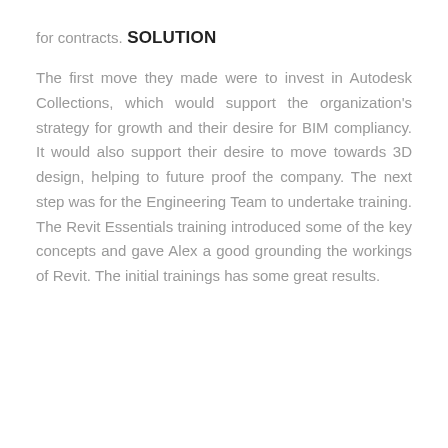for contracts.
SOLUTION
The first move they made were to invest in Autodesk Collections, which would support the organization's strategy for growth and their desire for BIM compliancy. It would also support their desire to move towards 3D design, helping to future proof the company. The next step was for the Engineering Team to undertake training. The Revit Essentials training introduced some of the key concepts and gave Alex a good grounding the workings of Revit. The initial trainings has some great results.